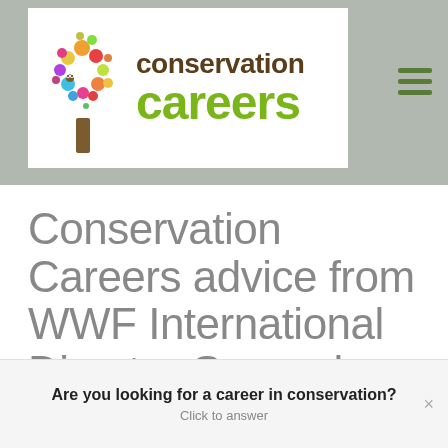[Figure (logo): Conservation Careers website header banner with colorful tree logo, 'conservation careers' text in brown and green, and a hamburger menu icon on a grey background]
Conservation Careers advice from WWF International Director General Marco Lambertini
Are you looking for a career in conservation? Click to answer